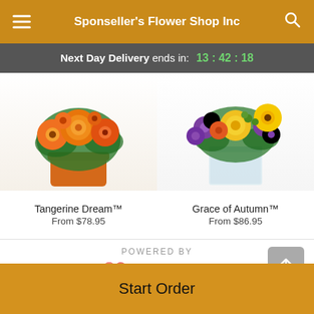Sponseller's Flower Shop Inc
Next Day Delivery ends in: 13:42:18
[Figure (photo): Tangerine Dream flower arrangement in orange vase with orange roses and gerbera daisies]
Tangerine Dream™
From $78.95
[Figure (photo): Grace of Autumn flower arrangement in glass vase with purple, yellow and orange flowers]
Grace of Autumn™
From $86.95
[Figure (logo): POWERED BY Lovingly logo with pink heart icon]
Start Order